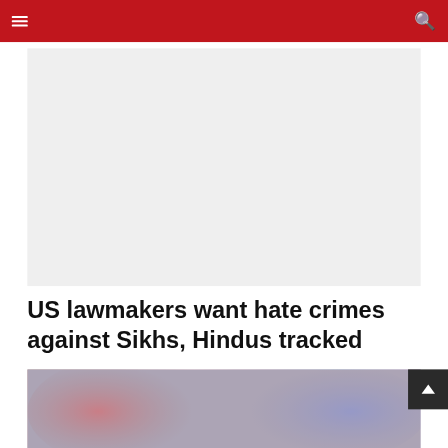[Figure (other): Light gray rectangular advertisement placeholder area]
US lawmakers want hate crimes against Sikhs, Hindus tracked
[Figure (photo): Blurry photo showing red and blue lights, possibly police lights, with people in background]